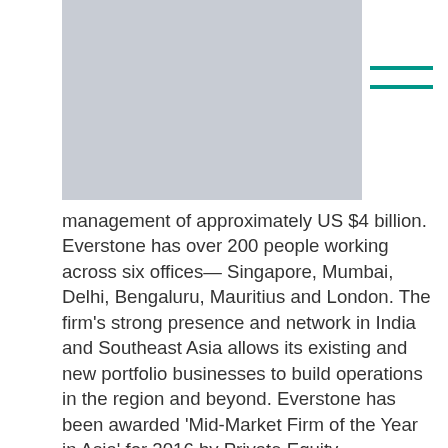[Figure (photo): Gray placeholder rectangle in upper left area of page]
management of approximately US $4 billion. Everstone has over 200 people working across six offices—Singapore, Mumbai, Delhi, Bengaluru, Mauritius and London. The firm's strong presence and network in India and Southeast Asia allows its existing and new portfolio businesses to build operations in the region and beyond. Everstone has been awarded 'Mid-Market Firm of the Year in Asia' for 2016 by Private Equity International.
For more information, visit Everstone here, or Everstone on Linkedin.
About Chemopharm Sdn Bhd.
Chemopharm Sdn Bhd. is a leading